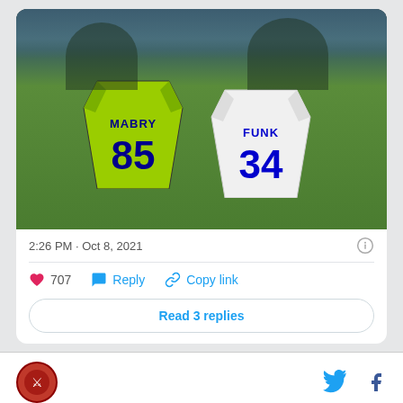[Figure (photo): Two NFL players on a football field holding up jerseys after a game. The player on the left wears blue and holds a neon green Seahawks jersey labeled 'MABRY 85'. The player on the right wears neon green Seahawks uniform and holds a white Rams jersey labeled 'FUNK 34'. They are smiling at the camera with stadium seating visible in the background.]
2:26 PM · Oct 8, 2021
707  Reply  Copy link
Read 3 replies